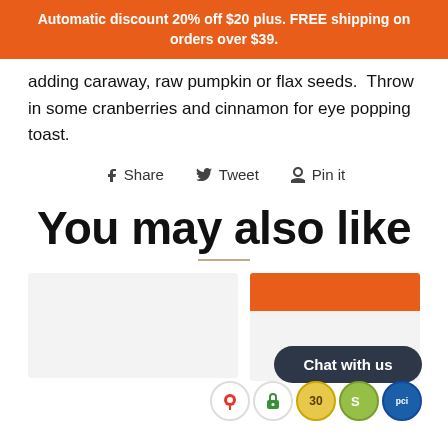Automatic discount 20% off $20 plus. FREE shipping on orders over $39.
adding caraway, raw pumpkin or flax seeds. Throw in some cranberries and cinnamon for eye popping toast.
Share  Tweet  Pin it
You may also like
[Figure (screenshot): Two product cards below the 'You may also like' heading, with a chat bubble and trust icons overlay]